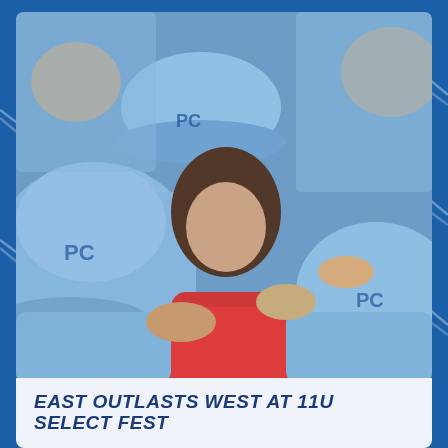[Figure (photo): Youth baseball players in light blue uniforms and caps with 'PC' logo celebrating together in a group hug, including one player in a red jersey in the center.]
EAST OUTLASTS WEST AT 11U SELECT FEST